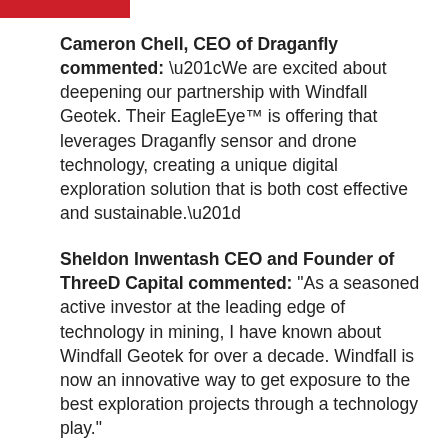Cameron Chell, CEO of Draganfly commented: “We are excited about deepening our partnership with Windfall Geotek. Their EagleEye™ is offering that leverages Draganfly sensor and drone technology, creating a unique digital exploration solution that is both cost effective and sustainable.”
Sheldon Inwentash CEO and Founder of ThreeD Capital commented: “As a seasoned active investor at the leading edge of technology in mining, I have known about Windfall Geotek for over a decade. Windfall is now an innovative way to get exposure to the best exploration projects through a technology play.”